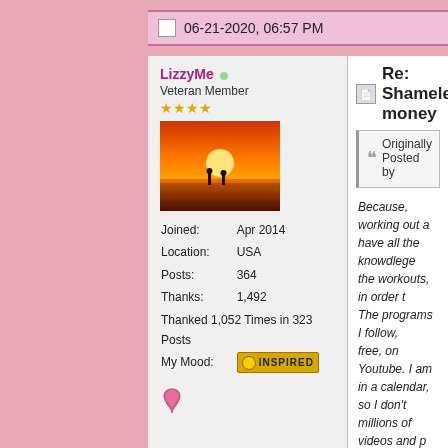06-21-2020, 06:57 PM
LizzyMe
Veteran Member
[Figure (photo): Sunset beach scene with silhouettes, avatar image]
Joined: Apr 2014
Location: USA
Posts: 364
Thanks: 1,492
Thanked 1,052 Times in 323 Posts
My Mood: INSPIRED
[Figure (illustration): Pink breast cancer awareness ribbon]
Re: Shameless money
Originally Posted by
Because, working out a have all the knowdlege the workouts, in order t The programs I follow, free, on Youtube. I am in a calendar, so I don't millions of videos and p Less headache.
And it's a form of respe to put the content out t keep up a site. Afterall, say everywhere that pe Any content creator sh somehow.

This is what I am payir

The overall monthly ca prescheduled workout took a day off, I simply some squares are emp Attachment 53212